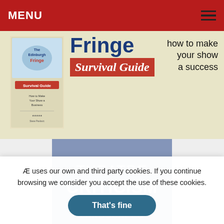MENU
[Figure (illustration): Edinburgh Fringe Survival Guide banner with book cover image, large Fringe text in dark blue, red Survival Guide banner, and tagline 'how to make your show a success']
[Figure (photo): Book cover: Theatre Criticism Changing Landscapes, edited by Duska Radosavljevic, blue cover with theatre mask icons at the bottom]
Æ uses our own and third party cookies. If you continue browsing we consider you accept the use of these cookies.
That's fine